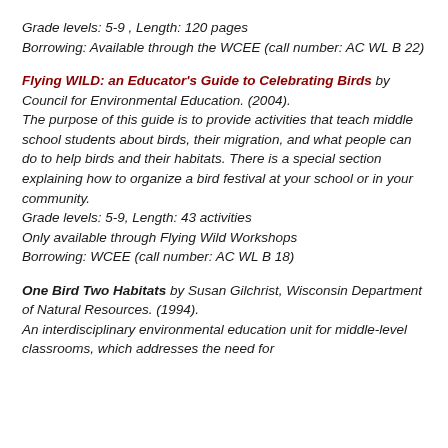Grade levels: 5-9 , Length: 120 pages
Borrowing: Available through the WCEE (call number: AC WL B 22)
Flying WILD: an Educator's Guide to Celebrating Birds by Council for Environmental Education. (2004). The purpose of this guide is to provide activities that teach middle school students about birds, their migration, and what people can do to help birds and their habitats. There is a special section explaining how to organize a bird festival at your school or in your community.
Grade levels: 5-9, Length: 43 activities
Only available through Flying Wild Workshops
Borrowing: WCEE (call number: AC WL B 18)
One Bird Two Habitats by Susan Gilchrist, Wisconsin Department of Natural Resources. (1994). An interdisciplinary environmental education unit for middle-level classrooms, which addresses the need for